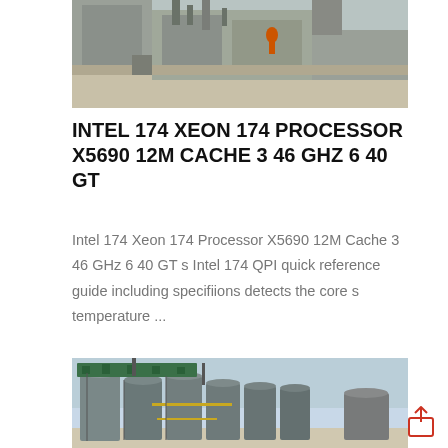[Figure (photo): Top portion of a construction site photo showing a building/structure with concrete elements, pipes, and a worker in orange vest visible in background]
INTEL 174 XEON 174 PROCESSOR X5690 12M CACHE 3 46 GHZ 6 40 GT
Intel 174 Xeon 174 Processor X5690 12M Cache 3 46 GHz 6 40 GT s Intel 174 QPI quick reference guide including specifiions detects the core s temperature ...
[Figure (photo): Industrial facility showing multiple large cylindrical metal silos/storage tanks with green pipe structures and scaffolding at top, under a clear sky]